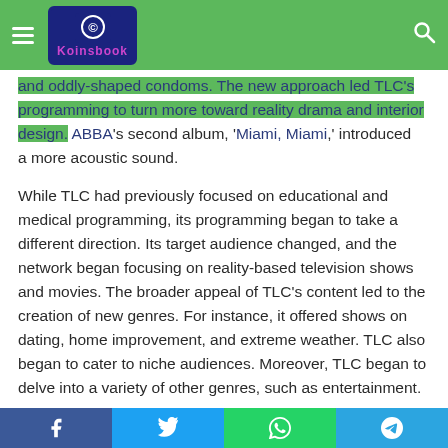Koinsbook navigation header with logo and search
and oddly-shaped condoms. The new approach led TLC's programming to turn more toward reality drama and interior design. ABBA's second album, 'Miami, Miami,' introduced a more acoustic sound.
While TLC had previously focused on educational and medical programming, its programming began to take a different direction. Its target audience changed, and the network began focusing on reality-based television shows and movies. The broader appeal of TLC's content led to the creation of new genres. For instance, it offered shows on dating, home improvement, and extreme weather. TLC also began to cater to niche audiences. Moreover, TLC began to delve into a variety of other genres, such as entertainment.
The new tagline for the TLC network is “Life Surprises” and
Facebook | Twitter | WhatsApp | Telegram share buttons